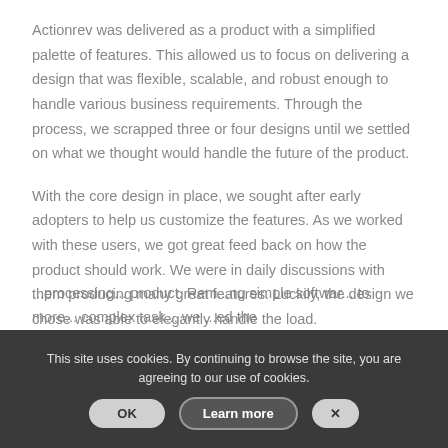Actionrev was delivered as a product with a simplified palette of features. This allowed us to focus on delivering a design that was flexible, scalable, and robust enough to handle various business requirements. Through the process, we scrapped three or four designs until we settled on what we thought would handle the future of the product.
With the core design in place, we sought after early adopters to help us customize the features. As we worked with these users, we got great feed back on how the product should work. We were in daily discussions with them producing many great features. Luckily, the design we chose was able to elegantly handle the load.
This site uses cookies. By continuing to browse the site, you are agreeing to our use of cookies.